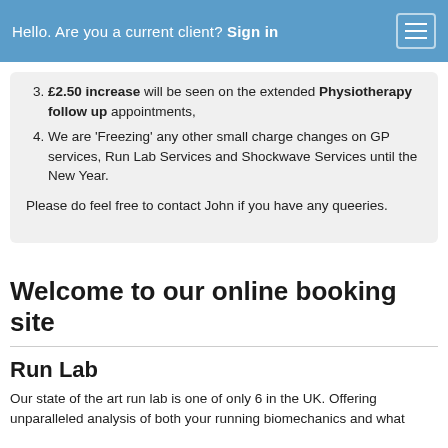Hello. Are you a current client? Sign in
£2.50 increase will be seen on the extended Physiotherapy follow up appointments,
We are 'Freezing' any other small charge changes on GP services, Run Lab Services and Shockwave Services until the New Year.
Please do feel free to contact John if you have any queeries.
Welcome to our online booking site
Run Lab
Our state of the art run lab is one of only 6 in the UK. Offering unparalleled analysis of both your running biomechanics and what